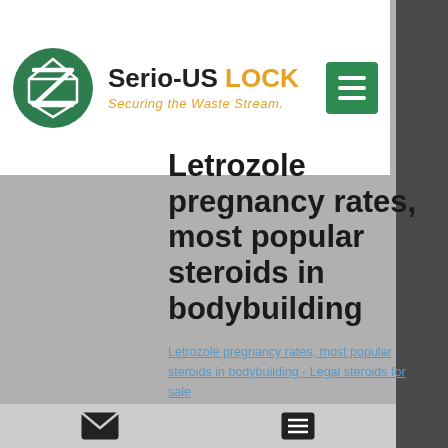[Figure (logo): Serio-US LOCK logo with green circle containing a geometric mark, brand name 'Serio-US LOCK' in black and orange, tagline 'Securing the Waste Stream.' in orange italic, and green hamburger menu button]
Letrozole pregnancy rates, most popular steroids in bodybuilding
Letrozole pregnancy rates, most popular steroids in bodybuilding - Legal steroids for sale
[Figure (photo): Dark blurred photograph, mostly dark tones with some lighter areas in center]
[Figure (other): Bottom navigation bar with email/envelope icon and list/menu icon]